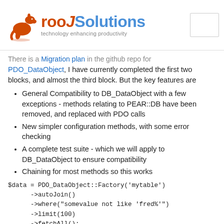[Figure (logo): rooJSolutions logo with kangaroo icon and tagline 'technology enhancing productivity']
There is a Migration plan in the github repo for PDO_DataObject, I have currently completed the first two blocks, and almost the third block. But the key features are
General Compatibility to DB_DataObject with a few exceptions - methods relating to PEAR::DB have been removed, and replaced with PDO calls
New simpler configuration methods, with some error checking
A complete test suite - which we will apply to DB_DataObject to ensure compatibility
Chaining for most methods so this works
Exceptions by default (PEAR is an optional dependency - not required)